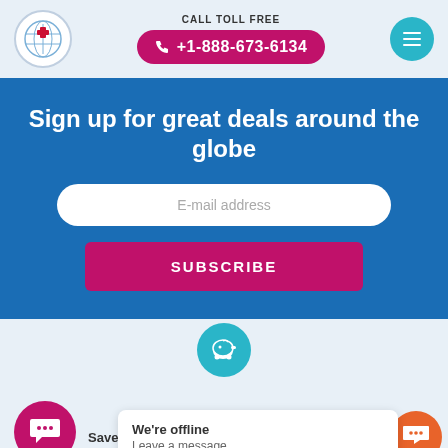CALL TOLL FREE
+1-888-673-6134
Sign up for great deals around the globe
E-mail address
SUBSCRIBE
Save up to 70%
We're offline
Leave a message